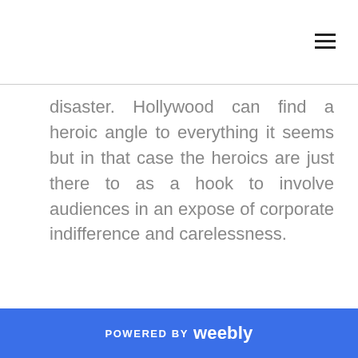disaster. Hollywood can find a heroic angle to everything it seems but in that case the heroics are just there to as a hook to involve audiences in an expose of corporate indifference and carelessness.
POWERED BY weebly